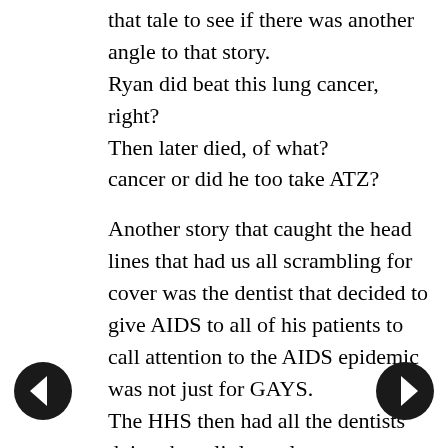that tale to see if there was another angle to that story.
Ryan did beat this lung cancer, right?
Then later died, of what?
cancer or did he too take ATZ?

Another story that caught the head lines that had us all scrambling for cover was the dentist that decided to give AIDS to all of his patients to call attention to the AIDS epidemic was not just for GAYS.
The HHS then had all the dentists doing these little useless measures - like "the face masks" Stuff of today. I can't remember what all it was, but they were just plain silly. I thought so back then too.

Kim with her father as a dentist might know more about that, her memory might be more
[Figure (other): Left navigation arrow button (black circle with white left arrow)]
[Figure (other): Right navigation arrow button (black circle with white right arrow)]